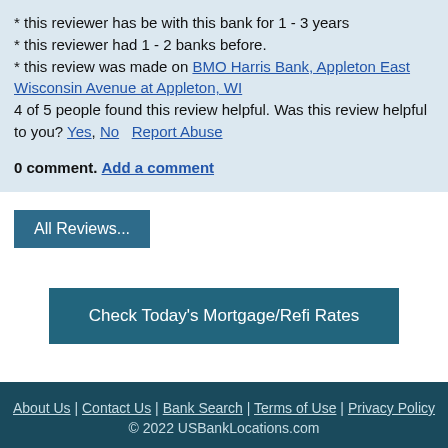* this reviewer has be with this bank for 1 - 3 years
* this reviewer had 1 - 2 banks before.
* this review was made on BMO Harris Bank, Appleton East Wisconsin Avenue at Appleton, WI
4 of 5 people found this review helpful. Was this review helpful to you? Yes, No   Report Abuse

0 comment. Add a comment
All Reviews...
Check Today's Mortgage/Refi Rates
About Us | Contact Us | Bank Search | Terms of Use | Privacy Policy
© 2022 USBankLocations.com